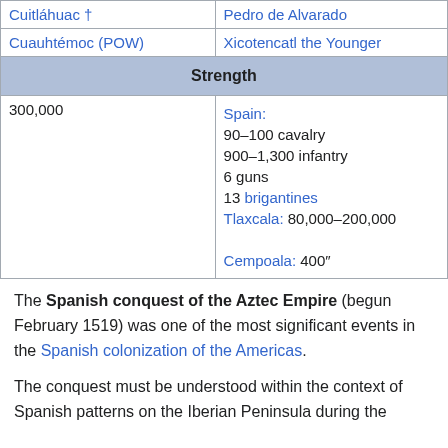| Aztec side | Spanish side |
| --- | --- |
| Cuitláhuac † | Pedro de Alvarado |
| Cuauhtémoc (POW) | Xicotencatl the Younger |
| Strength | Strength |
| 300,000 | Spain: 90–100 cavalry
900–1,300 infantry
6 guns
13 brigantines
Tlaxcala: 80,000–200,000
Cempoala: 400″ |
The Spanish conquest of the Aztec Empire (begun February 1519) was one of the most significant events in the Spanish colonization of the Americas.
The conquest must be understood within the context of Spanish patterns on the Iberian Peninsula during the